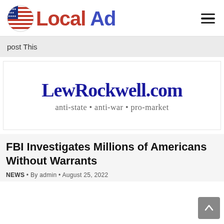Local Ad
post This
[Figure (logo): LewRockwell.com logo with tagline: anti-state • anti-war • pro-market]
FBI Investigates Millions of Americans Without Warrants
NEWS • By admin • August 25, 2022